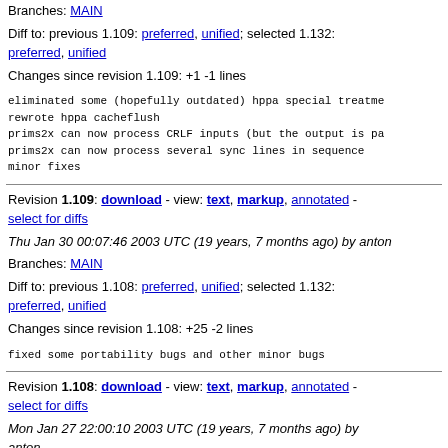Branches: MAIN
Diff to: previous 1.109: preferred, unified; selected 1.132: preferred, unified
Changes since revision 1.109: +1 -1 lines
eliminated some (hopefully outdated) hppa special treatme
rewrote hppa cacheflush
prims2x can now process CRLF inputs (but the output is pa
prims2x can now process several sync lines in sequence
minor fixes
Revision 1.109: download - view: text, markup, annotated - select for diffs
Thu Jan 30 00:07:46 2003 UTC (19 years, 7 months ago) by anton
Branches: MAIN
Diff to: previous 1.108: preferred, unified; selected 1.132: preferred, unified
Changes since revision 1.108: +25 -2 lines
fixed some portability bugs and other minor bugs
Revision 1.108: download - view: text, markup, annotated - select for diffs
Mon Jan 27 22:00:10 2003 UTC (19 years, 7 months ago) by anton
Branches: MAIN
Diff to: previous 1.107: preferred, unified; selected 1.132: